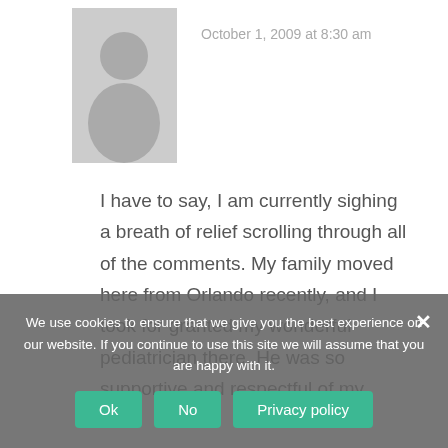[Figure (photo): Gray silhouette avatar placeholder image]
October 1, 2009 at 8:30 am
I have to say, I am currently sighing a breath of relief scrolling through all of the comments. My family moved here from Orlando recently, and I took for granted my wonderful pediatrician there. He was so supportive and respectful of my
We use cookies to ensure that we give you the best experience on our website. If you continue to use this site we will assume that you are happy with it.
Ok
No
Privacy policy